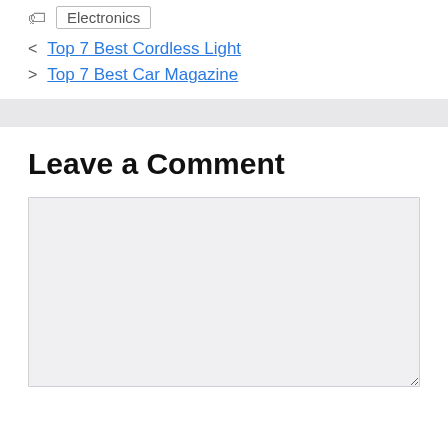Electronics
< Top 7 Best Cordless Light
> Top 7 Best Car Magazine
Leave a Comment
[Figure (other): Comment text area input box, light gray background]